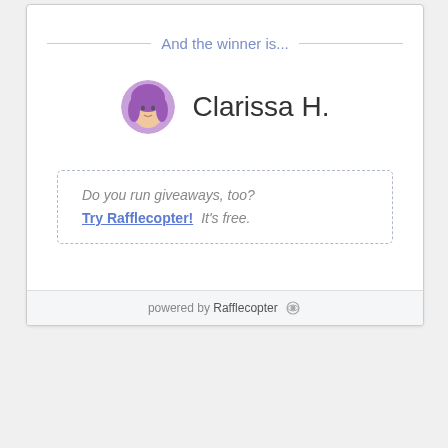And the winner is...
Clarissa H.
Do you run giveaways, too? Try Rafflecopter! It's free.
powered by Rafflecopter